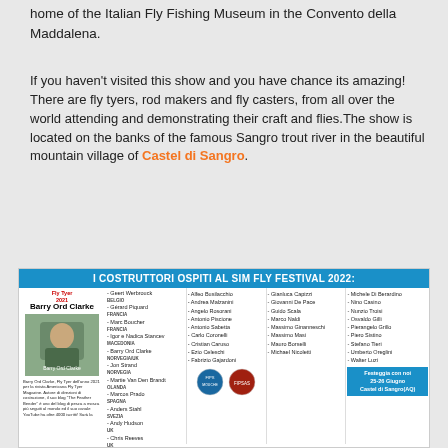home of the Italian Fly Fishing Museum in the Convento della Maddalena.
If you haven’t visited this show and you have chance its amazing! There are fly tyers, rod makers and fly casters, from all over the world attending and demonstrating their craft and flies.The show is located on the banks of the famous Sangro trout river in the beautiful mountain village of Castel di Sangro.
I COSTRUTTORI OSPITI AL SIM FLY FESTIVAL 2022:
[Figure (photo): Photo of Barry Ord Clarke, Fly Tyer of the year 2021]
Barry Ord Clarke, Fly Tyer dell'anno 2021 per la rivista Americana Fly Tyer Magazine. Autore di direzioni di costruzione, il suo blog "The Feather Bender" è uno del blog di pesca a mosca più seguiti al mondo ed il suo canale YouTube ha oltre 4000 iscritti! Sarà la
Geert Werbrouck BELGIO
Gérard Piquard FRANCIA
Marc Boucher FRANCIA
Igor e Nadica Stancev MACEDONIA
Barry Ord Clarke NORVEGIA/UK
Jon Strand NORVEGIA
Martie Van Den Brandt OLANDA
Marcos Prado SPAGNA
Anders Stahl SVEZIA
Andy Hudson UK
Chris Reeves UK
Dale Rushby UK
Linda Bachand USA
Alfeo Busilacchio
Andrea Malzanini
Angelo Rosorani
Antonio Piscione
Antonio Sabetta
Carlo Coronelli
Cristian Caruso
Ezio Celeschi
Fabrizio Gajardoni
Gianluca Capizzi
Giovanni De Pace
Guido Scala
Marco Naldi
Massimo Ginanneschi
Massimo Masi
Mauro Borselli
Michael Nicoletti
Michele Di Berardino
Nino Casino
Nunzio Troisi
Osvaldo Gilli
Pierangelo Grillo
Piero Sistino
Stefano Tieri
Umberto Oreglini
Walter Luzi
Festeggia con noi 25-26 Giugno Castel di Sangro(AQ)